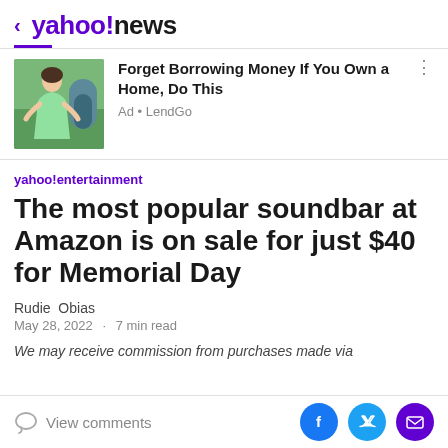< yahoo!news
[Figure (photo): Ad banner with photo of a woman in a green dress in front of a garden/building background]
Forget Borrowing Money If You Own a Home, Do This
Ad • LendGo
yahoo!entertainment
The most popular soundbar at Amazon is on sale for just $40 for Memorial Day
Rudie Obias
May 28, 2022 · 7 min read
We may receive commission from purchases made via
View comments